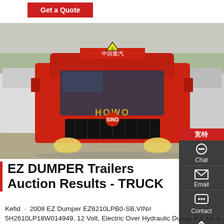Get a Quote
[Figure (photo): Front view of a red HOWO heavy truck (dump truck/tractor) parked in a lot with other trucks and trees in background. Chinese characters on the cab read 中国重汽. Yellow warning triangle sign on top.]
EZ DUMPER Trailers Auction Results - TRUCK
Kefid · 2008 EZ Dumper EZ6210LPB0-SB,VIN# 5H2610LP18W014949, 12 Volt, Electric Over Hydraulic Dump, 6'X 10' 4 Cubic Yards, Surge